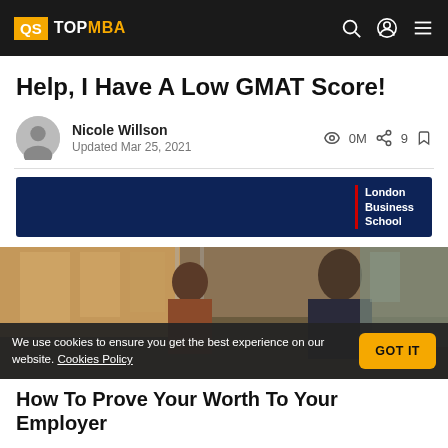QS TOPMBA
Help, I Have A Low GMAT Score!
Nicole Willson
Updated Mar 25, 2021
0M  9
[Figure (logo): London Business School advertisement banner with navy background and LBS logo]
[Figure (photo): Photo of business school students in a modern office environment]
We use cookies to ensure you get the best experience on our website. Cookies Policy  GOT IT
How To Prove Your Worth To Your Fmployer...